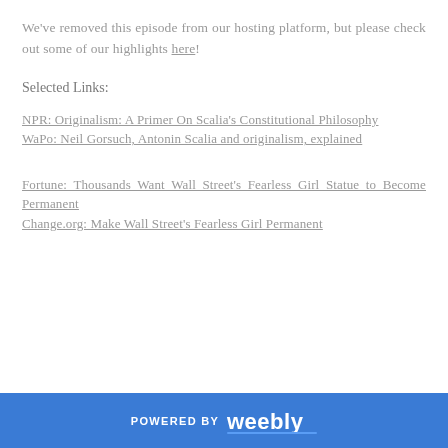We've removed this episode from our hosting platform, but please check out some of our highlights here!
Selected Links:
NPR: Originalism: A Primer On Scalia's Constitutional Philosophy
WaPo: Neil Gorsuch, Antonin Scalia and originalism, explained
Fortune: Thousands Want Wall Street's Fearless Girl Statue to Become Permanent
Change.org: Make Wall Street's Fearless Girl Permanent
POWERED BY weebly